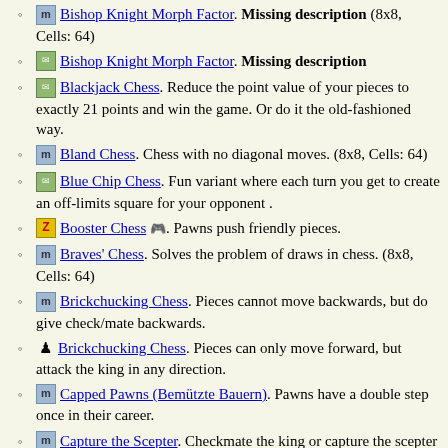Bishop Knight Morph Factor. Missing description (8x8, Cells: 64)
Bishop Knight Morph Factor. Missing description
Blackjack Chess. Reduce the point value of your pieces to exactly 21 points and win the game. Or do it the old-fashioned way.
Bland Chess. Chess with no diagonal moves. (8x8, Cells: 64)
Blue Chip Chess. Fun variant where each turn you get to create an off-limits square for your opponent .
Booster Chess. Pawns push friendly pieces.
Braves' Chess. Solves the problem of draws in chess. (8x8, Cells: 64)
Brickchucking Chess. Pieces cannot move backwards, but do give check/mate backwards.
Brickchucking Chess. Pieces can only move forward, but attack the king in any direction.
Capped Pawns (Bemützte Bauern). Pawns have a double step once in their career.
Capture the Scepter. Checkmate the king or capture the scepter located on opposing king's home square. Features extra-mobile sliding pawns. (8x8, Cells: 64)
Capture the King. Missing description (8x8